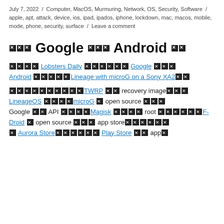July 7, 2022 / Computer, MacOS, Murmuring, Network, OS, Security, Software / apple, apt, attack, device, ios, ipad, ipados, iphone, lockdown, mac, macos, mobile, mode, phone, security, surface / Leave a comment
□□□ Google □□□ Android □□
■■■■ Lobsters Daily ■■■■■■ Google ■■■ Android ■■■■■■Lineage with microG on a Sony XA2■■
■■■■■■■■■■TWRP ■■ recovery image■■■ LineageOS ■■■■microG ■ open source ■■■ Google ■■ API ■■■■Magisk ■■■■ root ■■■■■■F-Droid ■ open source ■■■ app store■■■■■■ ■ Aurora Store■■■■■■ Play Store ■■ app■